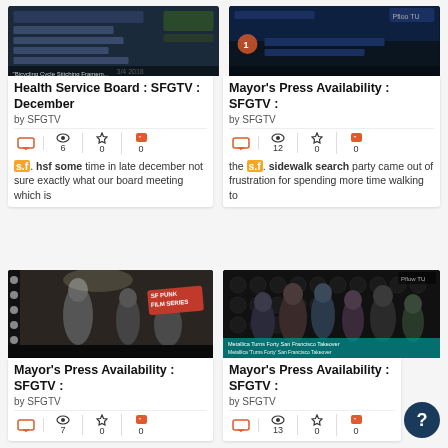[Figure (screenshot): Health Service Board SFGTV broadcast screenshot]
Health Service Board : SFGTV : December
by SFGTV
6 views, 0 favorites, 0 quotes
s.f. hsf some time in late december not sure exactly what our board meeting which is
[Figure (screenshot): Mayor's Press Availability SFGTV broadcast screenshot]
Mayor's Press Availability : SFGTV :
by SFGTV
12 views, 0 favorites, 0 quotes
the s.f. sidewalk search party came out of frustration for spending more time walking to
[Figure (photo): SF Punk Film Series - black and white concert photo]
Mayor's Press Availability : SFGTV :
by SFGTV
7 views, 0 favorites, 0 quotes
[Figure (screenshot): Metallica Turns Forty San Francisco Takeover event screenshot]
Mayor's Press Availability : SFGTV :
by SFGTV
13 views, 0 favorites, 0 quotes